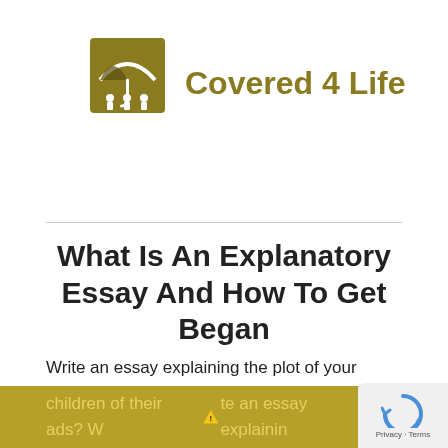[Figure (logo): Covered 4 Life logo with umbrella/people icon and text]
What Is An Explanatory Essay And How To Get Began
Write an essay explaining the plot of your favorite e-book or film and why you like it so much. Should advertisers be allowed to focus children of their ads? Write an essay explaining and justifying your reply. Write an essay